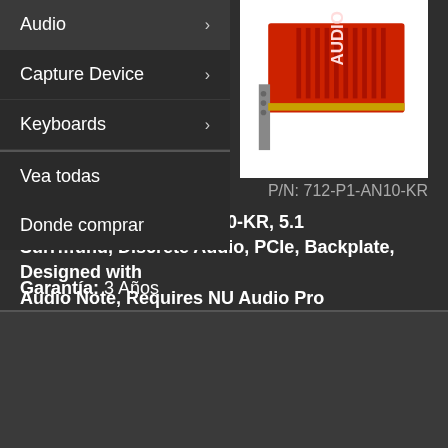Audio ›
Capture Device ›
Keyboards ›
Vea todas
Donde comprar
P/N: 712-P1-AN10-KR
ound Card, 712-P1-AN10-KR, 5.1 Surround, Discrete Audio, PCIe, Backplate, Designed with Audio Note, Requires NU Audio Pro
Garantía: 3 Años
[Figure (photo): EVGA NU Audio sound card product image showing orange/red PCIe card]
[Figure (photo): EVGA NU Audio product box and LLG Lifelike Gaming accessory images]